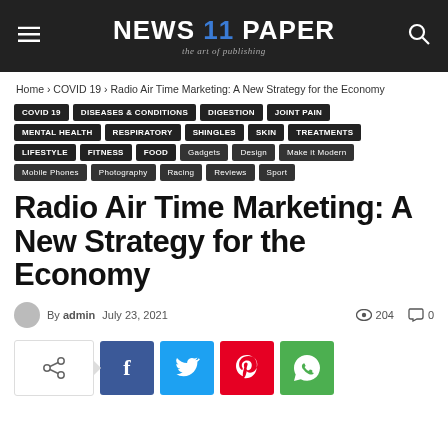NEWS 11 PAPER — the art of publishing
Home › COVID 19 › Radio Air Time Marketing: A New Strategy for the Economy
COVID 19
DISEASES & CONDITIONS
DIGESTION
JOINT PAIN
MENTAL HEALTH
RESPIRATORY
SHINGLES
SKIN
TREATMENTS
LIFESTYLE
FITNESS
FOOD
Gadgets
Design
Make it Modern
Mobile Phones
Photography
Racing
Reviews
Sport
Radio Air Time Marketing: A New Strategy for the Economy
By admin   July 23, 2021   204 views   0 comments